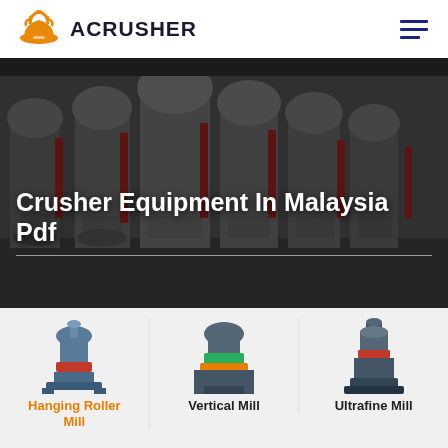[Figure (logo): Acrusher logo with orange hard hat icon and dark text ACRUSHER]
[Figure (photo): Industrial crusher machinery in a factory floor, multiple large grinding mill machines in a row, dark industrial setting]
Crusher Equipment In Malaysia Pdf
[Figure (photo): Hanging Roller Mill machine product photo]
Hanging Roller Mill
[Figure (photo): Vertical Mill machine product photo]
Vertical Mill
[Figure (photo): Ultrafine Mill machine product photo]
Ultrafine Mill